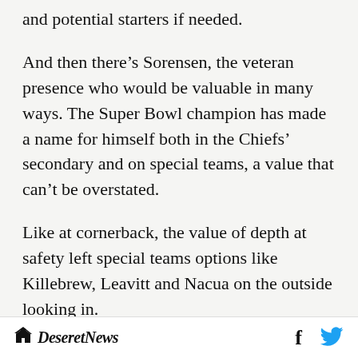and potential starters if needed.
And then there’s Sorensen, the veteran presence who would be valuable in many ways. The Super Bowl champion has made a name for himself both in the Chiefs’ secondary and on special teams, a value that can’t be overstated.
Like at cornerback, the value of depth at safety left special teams options like Killebrew, Leavitt and Nacua on the outside looking in.
Defensive assessment
Deseret News